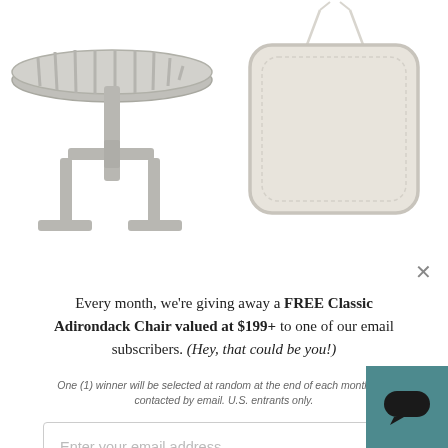[Figure (photo): Outdoor round dining table in grey POLYWOOD material, shown from slight front angle]
[Figure (photo): Beige outdoor chair cushion with ties, shown from front]
Every month, we're giving away a FREE Classic Adirondack Chair valued at $199+ to one of our email subscribers. (Hey, that could be you!)
Enter your email address
SIGN ME UP!
One (1) winner will be selected at random at the end of each month and contacted by email. U.S. entrants only.